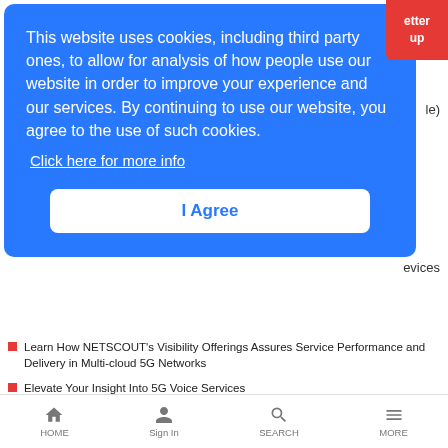etter
up
le)
evices
This website uses cookies, including third party ones, to allow for analysis of how people use our website in order to improve your experience and our services. By continuing to use our website, you agree to the use of such cookies. Click here for more info
I Agree
Learn How NETSCOUT's Visibility Offerings Assures Service Performance and Delivery in Multi-cloud 5G Networks
Elevate Your Insight Into 5G Voice Services
Download the White Paper: Why Visibility is Needed to Innovate in Your Wireless Network
5G Smart City End-Through-End Visibility - Download the Infographic
HOME  Sign In  SEARCH  MORE